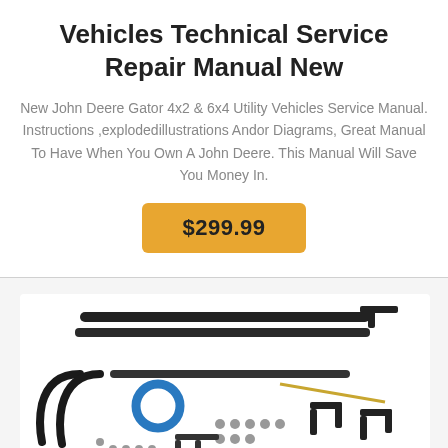Vehicles Technical Service Repair Manual New
New John Deere Gator 4x2 & 6x4 Utility Vehicles Service Manual. Instructions ,explodedillustrations Andor Diagrams, Great Manual To Have When You Own A John Deere. This Manual Will Save You Money In.
$299.99
[Figure (photo): Photo of a vehicle parts kit including black metal bars, brackets, bolts, a blue ring, and miscellaneous hardware components laid out on a white background.]
New Open Trail 105015